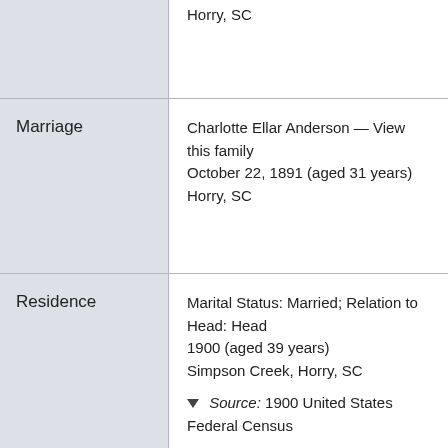| Category | Details |
| --- | --- |
|  | Horry, SC |
| Marriage | Charlotte Ellar Anderson — View this family
October 22, 1891 (aged 31 years)
Horry, SC |
| Residence | Marital Status: Married; Relation to Head: Head
1900 (aged 39 years)
Simpson Creek, Horry, SC
▼ Source: 1900 United States Federal Census |
| Residence | Marital Status: Married; Relation to Head: Head |